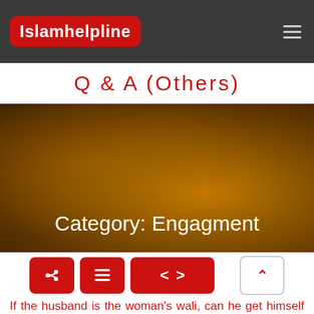Islamhelpline
Q & A (Others)
[Figure (photo): Blurred amber/brown bokeh background banner with text 'Category: Engagment']
Category: Engagment
If the husband is the woman's wali, can he get himself married to her?